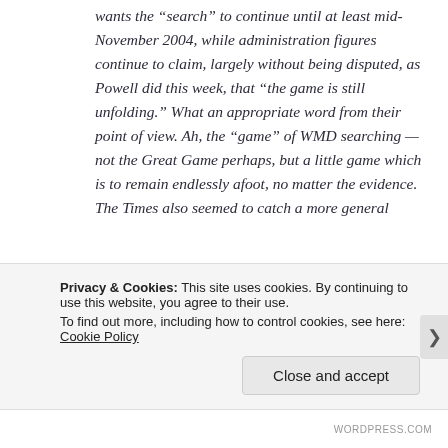wants the “search” to continue until at least mid-November 2004, while administration figures continue to claim, largely without being disputed, as Powell did this week, that “the game is still unfolding.” What an appropriate word from their point of view. Ah, the “game” of WMD searching — not the Great Game perhaps, but a little game which is to remain endlessly afoot, no matter the evidence. The Times also seemed to catch a more general
Privacy & Cookies: This site uses cookies. By continuing to use this website, you agree to their use.
To find out more, including how to control cookies, see here: Cookie Policy
Close and accept